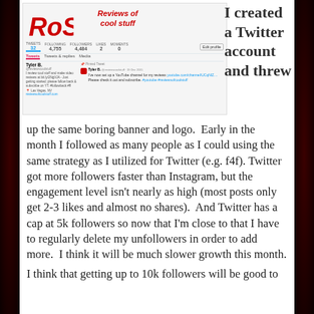[Figure (screenshot): Twitter profile screenshot for Reviews of Cool Stuff (RoCS) channel, showing the RoCS logo, stats (32 tweets, 4,755 following, 4,484 followers), tabs (Tweets, Tweets & replies, Media), and a tweet by Tyler B. saying 'I've now set up a YouTube channel for my reviews youtube.com/channel/UCqNlZ.... Please check it out and subscribe. #youtube #reviewsofcoolstuff']
I created a Twitter account and threw up the same boring banner and logo.  Early in the month I followed as many people as I could using the same strategy as I utilized for Twitter (e.g. f4f).  Twitter got more followers faster than Instagram, but the engagement level isn't nearly as high (most posts only get 2-3 likes and almost no shares).  And Twitter has a cap at 5k followers so now that I'm close to that I have to regularly delete my unfollowers in order to add more.  I think it will be much slower growth this month.
I think that getting up to 10k followers will be good to